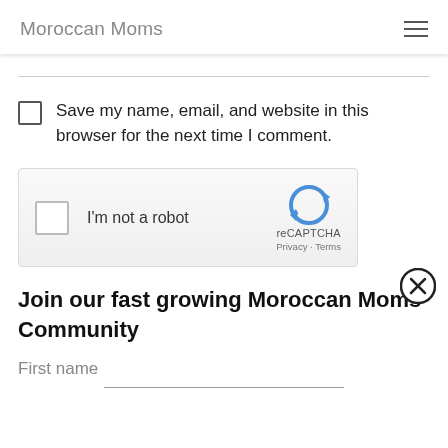Moroccan Moms
Save my name, email, and website in this browser for the next time I comment.
[Figure (other): reCAPTCHA widget with checkbox labeled I'm not a robot, reCAPTCHA logo, Privacy and Terms links]
Join our fast growing Moroccan Moms Community
First name